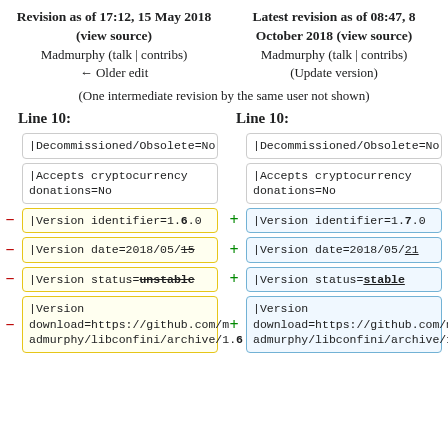Revision as of 17:12, 15 May 2018 (view source)
Madmurphy (talk | contribs)
← Older edit
Latest revision as of 08:47, 8 October 2018 (view source)
Madmurphy (talk | contribs)
(Update version)
(One intermediate revision by the same user not shown)
Line 10:
Line 10:
|Decommissioned/Obsolete=No (left)
|Decommissioned/Obsolete=No (right)
|Accepts cryptocurrency donations=No (left)
|Accepts cryptocurrency donations=No (right)
- |Version identifier=1.6.0
+ |Version identifier=1.7.0
- |Version date=2018/05/15
+ |Version date=2018/05/21
- |Version status=unstable
+ |Version status=stable
- |Version download=https://github.com/madmurphy/libconfini/archive/1.6...
+ |Version download=https://github.com/madmurphy/libconfini/archive/1.7...